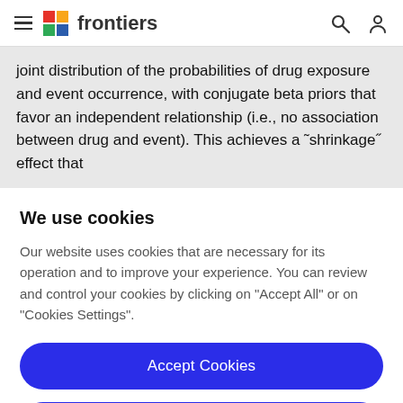frontiers
joint distribution of the probabilities of drug exposure and event occurrence, with conjugate beta priors that favor an independent relationship (i.e., no association between drug and event). This achieves a "shrinkage" effect that
We use cookies
Our website uses cookies that are necessary for its operation and to improve your experience. You can review and control your cookies by clicking on "Accept All" or on "Cookies Settings".
Accept Cookies
Cookies Settings